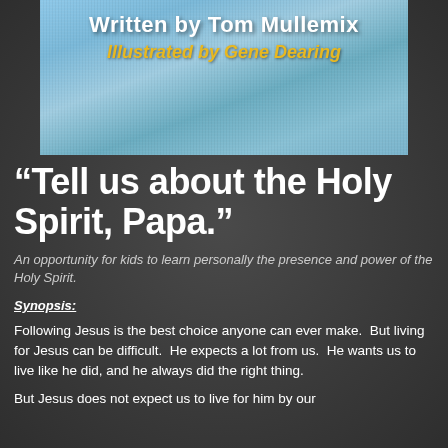[Figure (illustration): Book cover image with denim/fabric texture background in blue tones, showing author and illustrator credits]
Written by Tom Mullemix
Illustrated by Gene Dearing
“Tell us about the Holy Spirit, Papa.”
An opportunity for kids to learn personally the presence and power of the Holy Spirit.
Synopsis:
Following Jesus is the best choice anyone can ever make.  But living for Jesus can be difficult.  He expects a lot from us.  He wants us to live like he did, and he always did the right thing.
But Jesus does not expect us to live for him by our